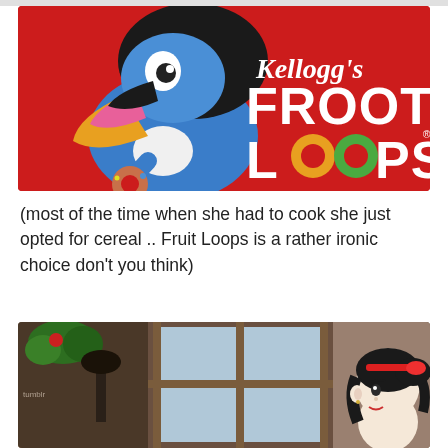[Figure (photo): Kellogg's Froot Loops cereal box featuring Toucan Sam cartoon bird holding a froot loop on a bright red background with the Kellogg's logo and FROOT LOOPS text in large bold letters]
(most of the time when she had to cook she just opted for cereal .. Fruit Loops is a rather ironic choice don’t you think)
[Figure (screenshot): Screenshot from The Sims game showing a female character with black hair and red headband, viewed from the side, standing near a window with brown wooden frames]